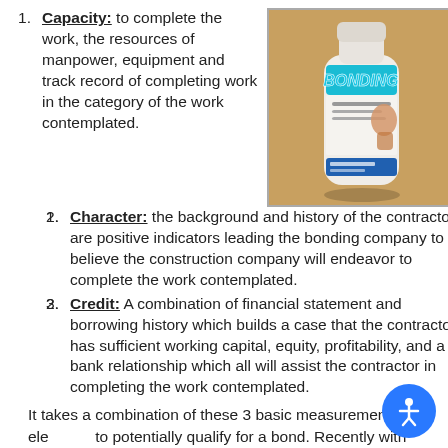Capacity: to complete the work, the resources of manpower, equipment and track record of completing work in the category of the work contemplated.
[Figure (photo): Photo of a white bottle of bonding product with teal/blue BONDING text on label, placed on a wooden surface background.]
Character: the background and history of the contractor are positive indicators leading the bonding company to believe the construction company will endeavor to complete the work contemplated.
Credit: A combination of financial statement and borrowing history which builds a case that the contractor has sufficient working capital, equity, profitability, and a bank relationship which all will assist the contractor in completing the work contemplated.
It takes a combination of these 3 basic measurement elements to potentially qualify for a bond. Recently with shrinking profit